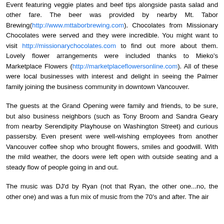Event featuring veggie plates and beef tips alongside pasta salad and other fare. The beer was provided by nearby Mt. Tabor Brewing(http://www.mttaborbrewing.com). Chocolates from Missionary Chocolates were served and they were incredible. You might want to visit http://missionarychocolates.com to find out more about them. Lovely flower arrangements were included thanks to Mieko's Marketplace Flowers (http://marketplaceflowersonline.com). All of these were local businesses with interest and delight in seeing the Palmer family joining the business community in downtown Vancouver.
The guests at the Grand Opening were family and friends, to be sure, but also business neighbors (such as Tony Broom and Sandra Geary from nearby Serendipity Playhouse on Washington Street) and curious passersby. Even present were well-wishing employees from another Vancouver coffee shop who brought flowers, smiles and goodwill. With the mild weather, the doors were left open with outside seating and a steady flow of people going in and out.
The music was DJ'd by Ryan (not that Ryan, the other one...no, the other one) and was a fun mix of music from the 70's and after. The air